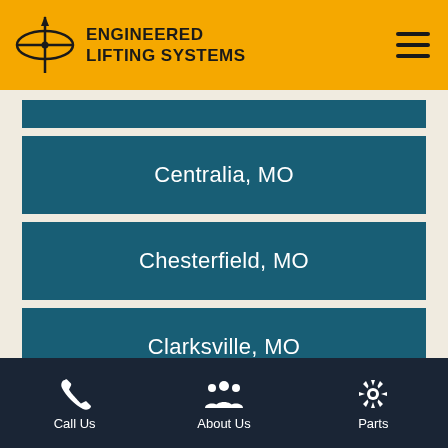[Figure (logo): Engineered Lifting Systems logo with compass/crosshair symbol and company name]
Centralia, MO
Chesterfield, MO
Clarksville, MO
Cole County, MO
Call Us | About Us | Parts